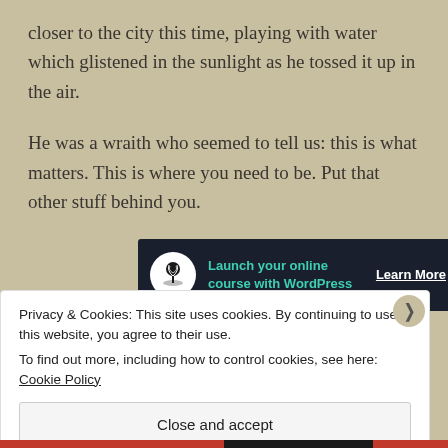closer to the city this time, playing with water which glistened in the sunlight as he tossed it up in the air.
He was a wraith who seemed to tell us: this is what matters. This is where you need to be. Put that other stuff behind you.
[Figure (infographic): Advertisement banner with dark navy background showing a bonsai tree icon, text 'Launch your online course with WordPress' in teal, and 'Learn More' button in white.]
Privacy & Cookies: This site uses cookies. By continuing to use this website, you agree to their use.
To find out more, including how to control cookies, see here: Cookie Policy
Close and accept